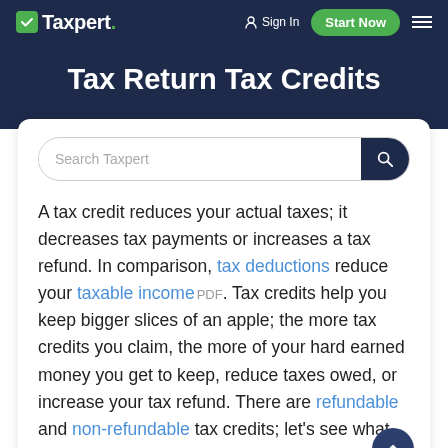Taxpert. | Sign In | Start Now
Tax Return Tax Credits
[Figure (screenshot): Search bar with placeholder text 'Search Taxpert' and a dark blue search button with magnifying glass icon]
A tax credit reduces your actual taxes; it decreases tax payments or increases a tax refund. In comparison, tax deductions reduce your taxable income PDF. Tax credits help you keep bigger slices of an apple; the more tax credits you claim, the more of your hard earned money you get to keep, reduce taxes owed, or increase your tax refund. There are refundable and non-refundable tax credits; let's see what the